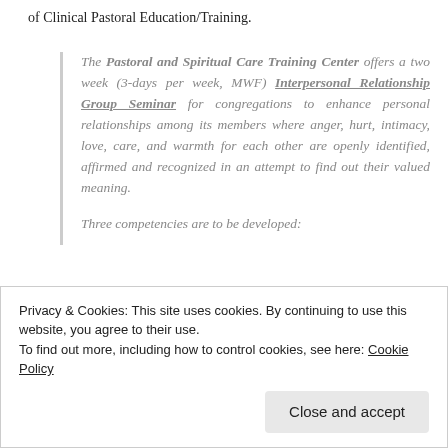of Clinical Pastoral Education/Training.
The Pastoral and Spiritual Care Training Center offers a two week (3-days per week, MWF) Interpersonal Relationship Group Seminar for congregations to enhance personal relationships among its members where anger, hurt, intimacy, love, care, and warmth for each other are openly identified, affirmed and recognized in an attempt to find out their valued meaning.
Three competencies are to be developed:
Privacy & Cookies: This site uses cookies. By continuing to use this website, you agree to their use.
To find out more, including how to control cookies, see here: Cookie Policy